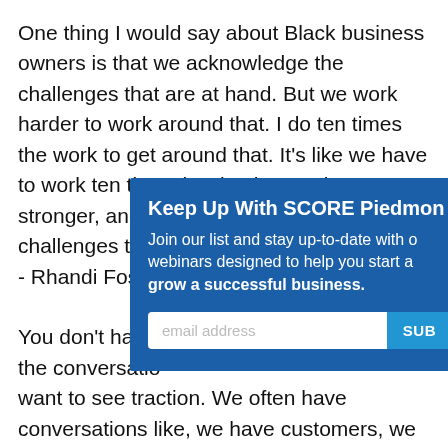One thing I would say about Black business owners is that we acknowledge the challenges that are at hand. But we work harder to work around that. I do ten times the work to get around that. It's like we have to work ten times harder, be ten times stronger, and preserve beyond the challenges that are at hand.
- Rhandi Foster

You don't have those conversa the conversatio want to see traction. We often have conversations like, we have customers, we have traction and yet the same level of interest is not there. Meanwhile, when you look at tech companies they are launching with
[Figure (other): Overlay popup for SCORE Piedmont email newsletter signup with title 'Keep Up With SCORE Piedmont', description text, email input field, and SUBMIT button.]